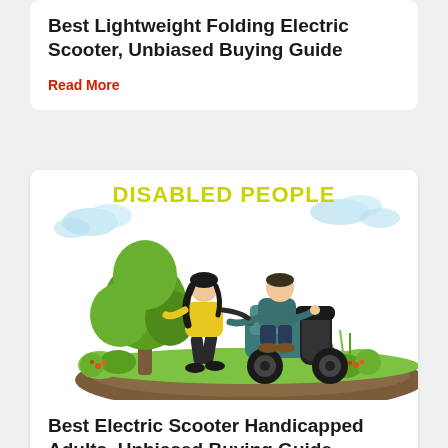Best Lightweight Folding Electric Scooter, Unbiased Buying Guide
Read More
[Figure (illustration): Illustration of a disabled person riding a mobility scooter with a woman walking beside them in a park scene. Yellow text at top reads 'DISABLED PEOPLE'. Green trees, bushes, grass, and blue sky in background.]
Best Electric Scooter Handicapped Adults, Unbiased Buying Guide